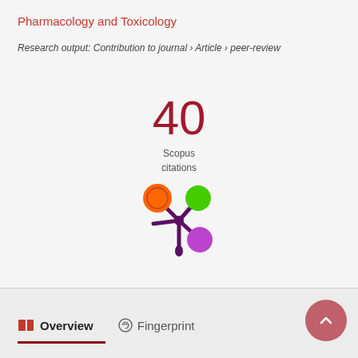Pharmacology and Toxicology
Research output: Contribution to journal › Article › peer-review
[Figure (infographic): Scopus citations count: 40, displayed in large dark red numerals above the label 'Scopus citations']
[Figure (logo): Altmetric donut-style logo with orange, green, and purple circles on dark purple spokes]
Overview
Fingerprint